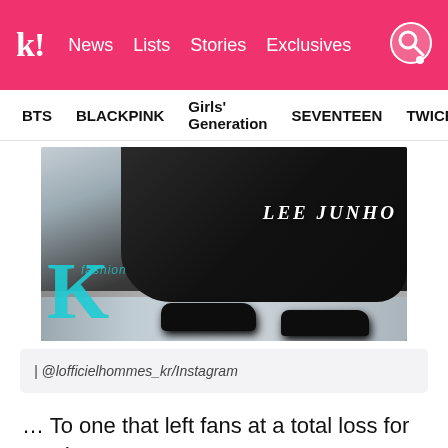k! News Lists Stories Exclusives
BTS BLACKPINK Girls' Generation SEVENTEEN TWICE
[Figure (photo): Photo of LEE JUNHO crouching in all-black outfit with black shoes, overlaid teal fashion magazine logo/K lettering, with LEE JUNHO watermark text in upper right]
| @lofficielhommes_kr/Instagram
… To one that left fans at a total loss for words.